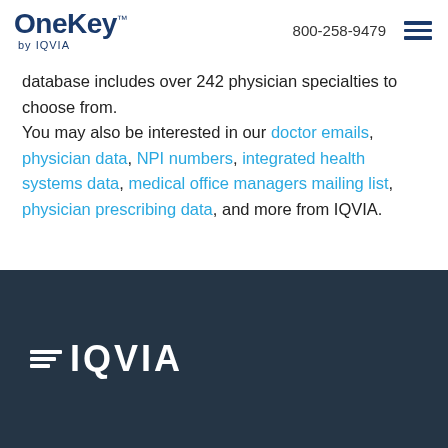OneKey™ by IQVIA | 800-258-9479
database includes over 242 physician specialties to choose from. You may also be interested in our doctor emails, physician data, NPI numbers, integrated health systems data, medical office managers mailing list, physician prescribing data, and more from IQVIA.
IQVIA